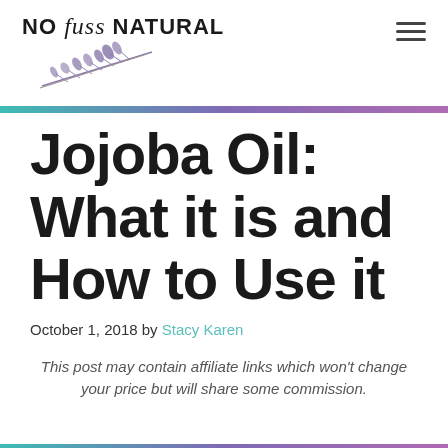NO fuss NATURAL
Jojoba Oil: What it is and How to Use it
October 1, 2018 by Stacy Karen
This post may contain affiliate links which won't change your price but will share some commission.